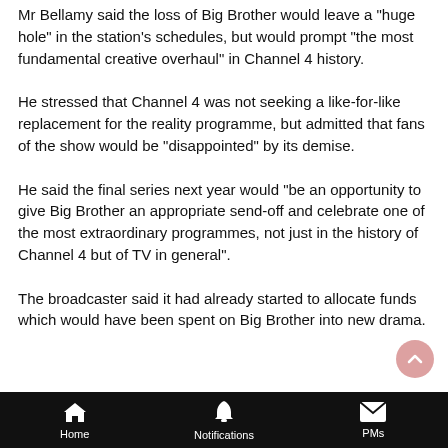Mr Bellamy said the loss of Big Brother would leave a "huge hole" in the station's schedules, but would prompt "the most fundamental creative overhaul" in Channel 4 history.
He stressed that Channel 4 was not seeking a like-for-like replacement for the reality programme, but admitted that fans of the show would be "disappointed" by its demise.
He said the final series next year would "be an opportunity to give Big Brother an appropriate send-off and celebrate one of the most extraordinary programmes, not just in the history of Channel 4 but of TV in general".
The broadcaster said it had already started to allocate funds which would have been spent on Big Brother into new drama.
Home  Notifications  PMs